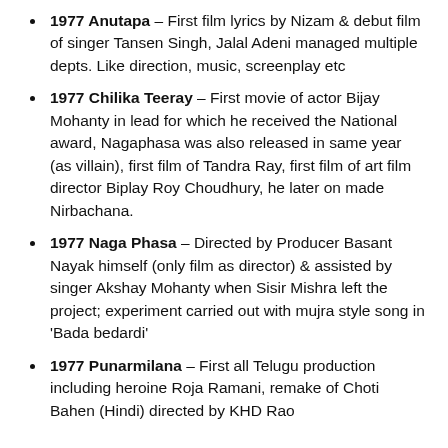1977 Anutapa – First film lyrics by Nizam & debut film of singer Tansen Singh, Jalal Adeni managed multiple depts. Like direction, music, screenplay etc
1977 Chilika Teeray – First movie of actor Bijay Mohanty in lead for which he received the National award, Nagaphasa was also released in same year (as villain), first film of Tandra Ray, first film of art film director Biplay Roy Choudhury, he later on made Nirbachana.
1977 Naga Phasa – Directed by Producer Basant Nayak himself (only film as director) & assisted by singer Akshay Mohanty when Sisir Mishra left the project; experiment carried out with mujra style song in 'Bada bedardi'
1977 Punarmilana – First all Telugu production including heroine Roja Ramani, remake of Choti Bahen (Hindi) directed by KHD Rao